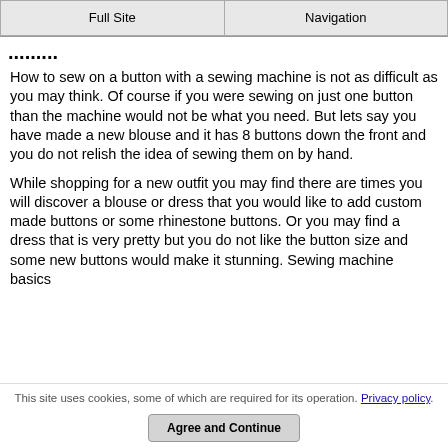Full Site | Navigation
...
How to sew on a button with a sewing machine is not as difficult as you may think. Of course if you were sewing on just one button than the machine would not be what you need. But lets say you have made a new blouse and it has 8 buttons down the front and you do not relish the idea of sewing them on by hand.
While shopping for a new outfit you may find there are times you will discover a blouse or dress that you would like to add custom made buttons or some rhinestone buttons. Or you may find a dress that is very pretty but you do not like the button size and some new buttons would make it stunning. Sewing machine basics
This site uses cookies, some of which are required for its operation. Privacy policy.
Agree and Continue